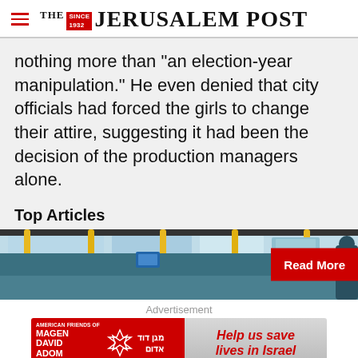THE JERUSALEM POST
nothing more than "an election-year manipulation." He even denied that city officials had forced the girls to change their attire, suggesting it had been the decision of the production managers alone.
Top Articles
[Figure (photo): Interior of a bus with yellow handrails and windows, with a red 'Read More' button overlay on the right side]
Advertisement
[Figure (infographic): American Friends of Magen David Adom red advertisement banner with Star of David logo and Hebrew text, with 'Help us save lives in Israel' call to action on gray button]